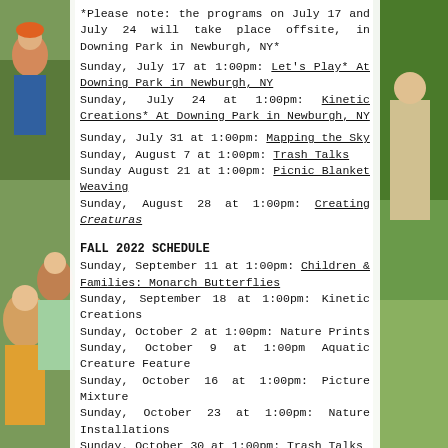[Figure (photo): Outdoor photo of children and adults sitting on grass, likely at a nature program event. Green outdoor setting.]
*Please note: the programs on July 17 and July 24 will take place offsite, in Downing Park in Newburgh, NY*
Sunday, July 17 at 1:00pm: Let's Play* At Downing Park in Newburgh, NY
Sunday, July 24 at 1:00pm: Kinetic Creations* At Downing Park in Newburgh, NY
Sunday, July 31 at 1:00pm: Mapping the Sky
Sunday, August 7 at 1:00pm: Trash Talks
Sunday August 21 at 1:00pm: Picnic Blanket Weaving
Sunday, August 28 at 1:00pm: Creating Creaturas
FALL 2022 SCHEDULE
Sunday, September 11 at 1:00pm: Children & Families: Monarch Butterflies
Sunday, September 18 at 1:00pm: Kinetic Creations
Sunday, October 2 at 1:00pm: Nature Prints
Sunday, October 9 at 1:00pm Aquatic Creature Feature
Sunday, October 16 at 1:00pm: Picture Mixture
Sunday, October 23 at 1:00pm: Nature Installations
Sunday, October 30 at 1:00pm: Trash Talks